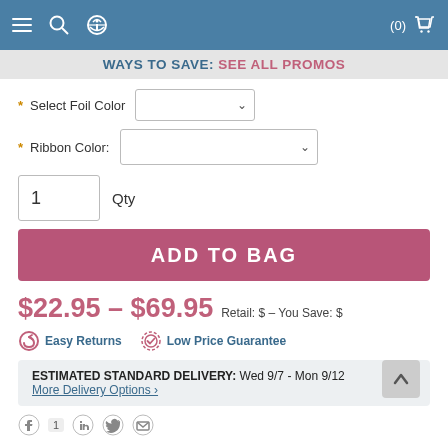Navigation bar with menu, search, settings icons and cart (0)
WAYS TO SAVE: SEE ALL PROMOS
* Select Foil Color [dropdown]
* Ribbon Color: [dropdown]
1  Qty
ADD TO BAG
$22.95 – $69.95  Retail: $ – You Save: $
Easy Returns   Low Price Guarantee
ESTIMATED STANDARD DELIVERY:  Wed 9/7 - Mon 9/12
More Delivery Options ›
Social sharing icons: Pinterest (1), Facebook, Twitter, Email